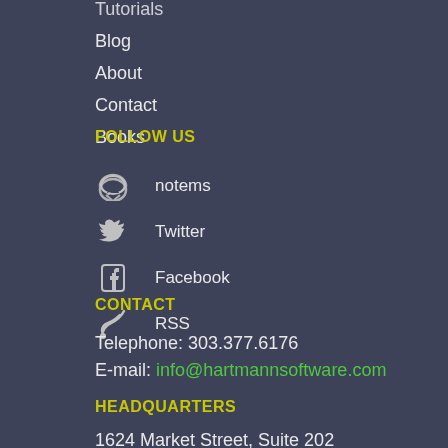Tutorials
Blog
About
Contact
Books
FOLLOW US
notems
Twitter
Facebook
RSS
CONTACT
Telephone: 303.377.6176
E-mail: info@hartmannsoftware.com
HEADQUARTERS
1624 Market Street, Suite 202